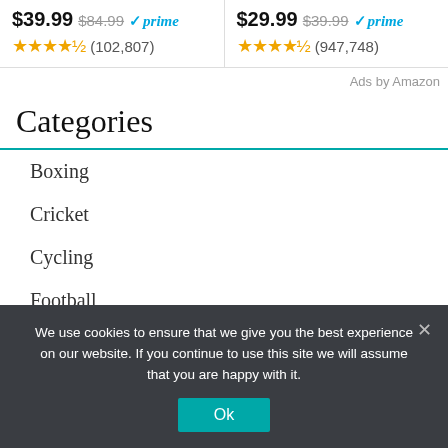$39.99 $84.99 ✓prime ★★★★½ (102,807)
$29.99 $39.99 ✓prime ★★★★½ (947,748)
Ads by Amazon
Categories
Boxing
Cricket
Cycling
Football
We use cookies to ensure that we give you the best experience on our website. If you continue to use this site we will assume that you are happy with it.